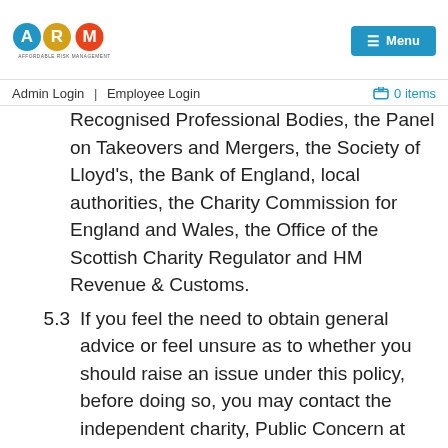ARM — Affordable Risk Management | Menu | Admin Login | Employee Login | 0 items
Recognised Professional Bodies, the Panel on Takeovers and Mergers, the Society of Lloyd's, the Bank of England, local authorities, the Charity Commission for England and Wales, the Office of the Scottish Charity Regulator and HM Revenue & Customs.
5.3  If you feel the need to obtain general advice or feel unsure as to whether you should raise an issue under this policy, before doing so, you may contact the independent charity, Public Concern at Work www.pcaw.co.uk (0207 404 6609 or whistle@pcaw.org.uk). They provide free